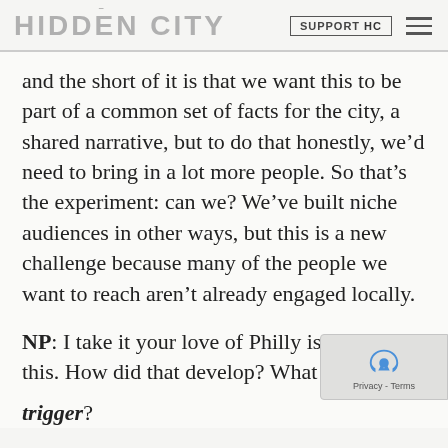HIDDEN CITY | SUPPORT HC
and the short of it is that we want this to be part of a common set of facts for the city, a shared narrative, but to do that honestly, we’d need to bring in a lot more people. So that’s the experiment: can we? We’ve built niche audiences in other ways, but this is a new challenge because many of the people we want to reach aren’t already engaged locally.
NP: I take it your love of Philly is behind this. How did that develop? What was the trigger?